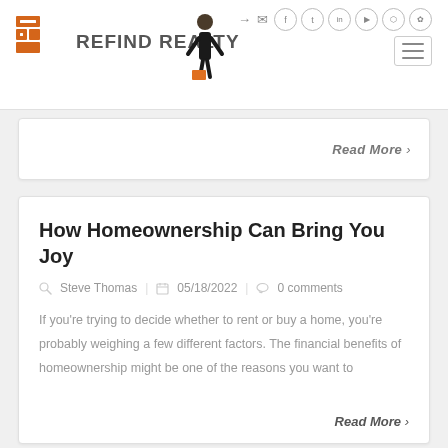Refind Realty — website header with logo, mascot, social icons, and navigation
Read More ›
How Homeownership Can Bring You Joy
Steve Thomas   05/18/2022   0 comments
If you're trying to decide whether to rent or buy a home, you're probably weighing a few different factors. The financial benefits of homeownership might be one of the reasons you want to
Read More ›